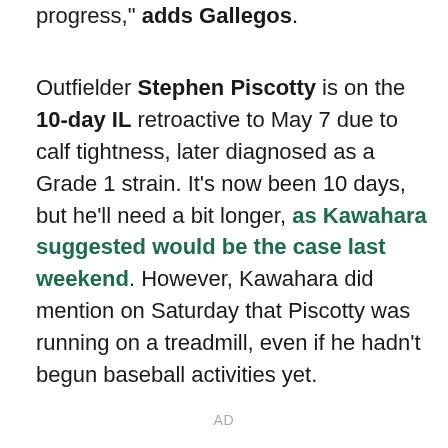progress," adds Gallegos.
Outfielder Stephen Piscotty is on the 10-day IL retroactive to May 7 due to calf tightness, later diagnosed as a Grade 1 strain. It's now been 10 days, but he'll need a bit longer, as Kawahara suggested would be the case last weekend. However, Kawahara did mention on Saturday that Piscotty was running on a treadmill, even if he hadn't begun baseball activities yet.
AD